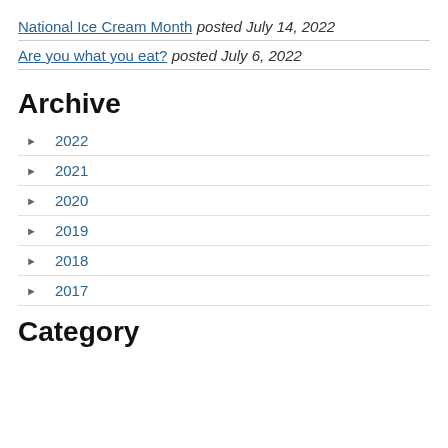National Ice Cream Month posted July 14, 2022
Are you what you eat? posted July 6, 2022
Archive
2022
2021
2020
2019
2018
2017
Category